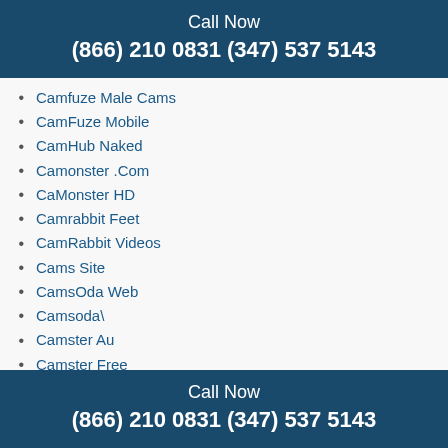Call Now
(866) 210 0831 (347) 537 5143
Camfuze Male Cams
CamFuze Mobile
CamHub Naked
Camonster .Com
CaMonster HD
Camrabbit Feet
CamRabbit Videos
Cams Site
CamsOda Web
Camsoda\
Camster Au
Camster Free
Camversity App
CamVersity Token Free
Camwithher Milf
can i refinance my title loan with titlemax
Call Now
(866) 210 0831 (347) 537 5143